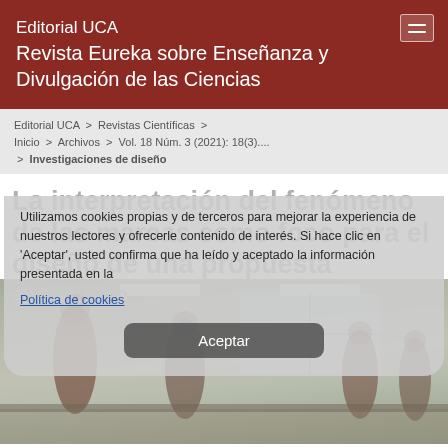Editorial UCA
Revista Eureka sobre Enseñanza y Divulgación de las Ciencias
Editorial UCA > Revistas Científicas > Inicio > Archivos > Vol. 18 Núm. 3 (2021): 18(3).... > Investigaciones de diseño
La interpretación del fenómeno de las mareas como foco para el diseño de una propuesta didáctica
Utilizamos cookies propias y de terceros para mejorar la experiencia de nuestros lectores y ofrecerle contenido de interés. Si hace clic en 'Aceptar', usted confirma que ha leído y aceptado la información presentada en la
Política de cookies
Aceptar
[Figure (photo): Blurred photo of people in what appears to be a classroom or office setting with fluorescent lighting]